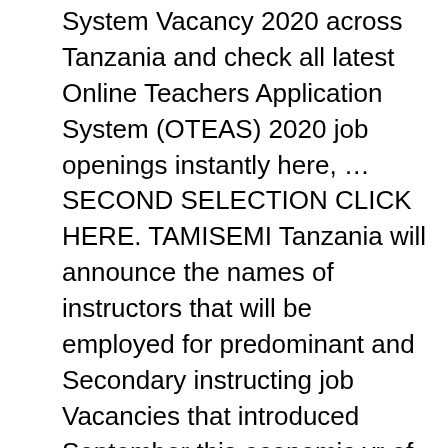System Vacancy 2020 across Tanzania and check all latest Online Teachers Application System (OTEAS) 2020 job openings instantly here, … SECOND SELECTION CLICK HERE. TAMISEMI Tanzania will announce the names of instructors that will be employed for predominant and Secondary instructing job Vacancies that introduced September this economic yr of 2020/2021 so as to decrease the shortage of instructors in authorities faculties for supplying higher training to … SUA second round selection 2020/2021. Students are Requested to visit TAMISEMI and Ministry of Education, Science and Technology website. The TAMISEMI releases the Form one Second selection 2021 list for Primary School Leaving Examination (PSLE) candidates seeking admission into Government secondary school for 2021/2022